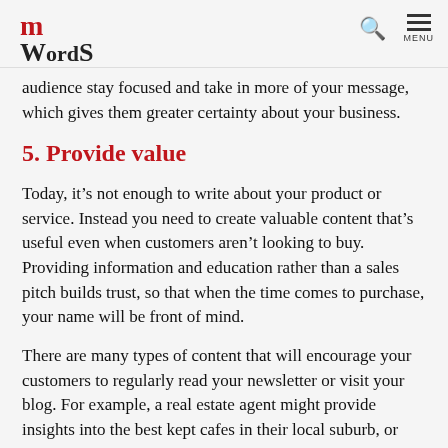mWords [logo with search and menu icons]
audience stay focused and take in more of your message, which gives them greater certainty about your business.
5. Provide value
Today, it's not enough to write about your product or service. Instead you need to create valuable content that's useful even when customers aren't looking to buy. Providing information and education rather than a sales pitch builds trust, so that when the time comes to purchase, your name will be front of mind.
There are many types of content that will encourage your customers to regularly read your newsletter or visit your blog. For example, a real estate agent might provide insights into the best kept cafes in their local suburb, or